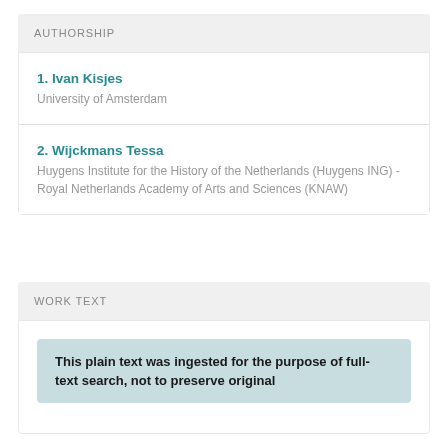AUTHORSHIP
1. Ivan Kisjes
University of Amsterdam
2. Wijckmans Tessa
Huygens Institute for the History of the Netherlands (Huygens ING) - Royal Netherlands Academy of Arts and Sciences (KNAW)
WORK TEXT
This plain text was ingested for the purpose of full-text search, not to preserve original